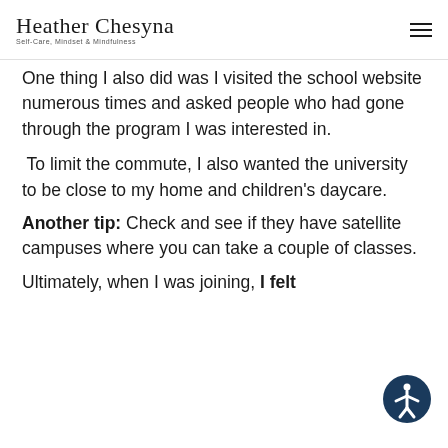Heather Chesyna – Self-Care, Mindset & Mindfulness
One thing I also did was I visited the school website numerous times and asked people who had gone through the program I was interested in.
To limit the commute, I also wanted the university to be close to my home and children's daycare.
Another tip: Check and see if they have satellite campuses where you can take a couple of classes.
Ultimately, when I was joining, I felt